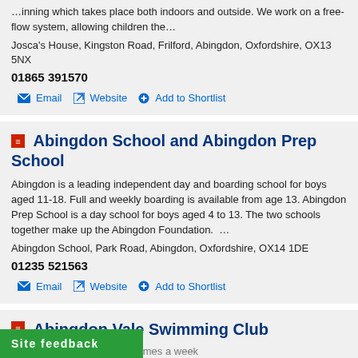…inning which takes place both indoors and outside. We work on a free-flow system, allowing children the…
Josca's House, Kingston Road, Frilford, Abingdon, Oxfordshire, OX13 5NX
01865 391570
Email | Website | Add to Shortlist
Abingdon School and Abingdon Prep School
Abingdon is a leading independent day and boarding school for boys aged 11-18. Full and weekly boarding is available from age 13. Abingdon Prep School is a day school for boys aged 4 to 13. The two schools together make up the Abingdon Foundation.  …
Abingdon School, Park Road, Abingdon, Oxfordshire, OX14 1DE
01235 521563
Email | Website | Add to Shortlist
Abingdon Vale Swimming Club
Coaching sessions several times a week
…rimMark accredited club, has been a
Site feedback